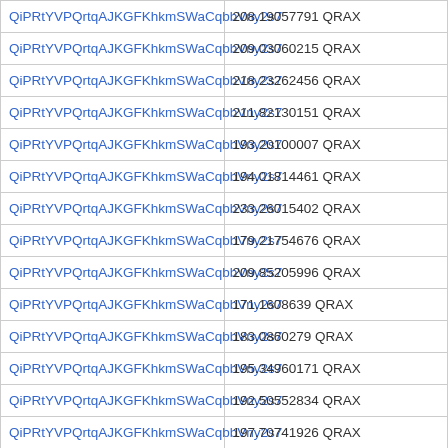| QiPRtYVPQrtqAJKGFKhkmSWaCqbbVny2s7 | 208.19057791 QRAX |
| QiPRtYVPQrtqAJKGFKhkmSWaCqbbVny2s7 | 209.03060215 QRAX |
| QiPRtYVPQrtqAJKGFKhkmSWaCqbbVny2s7 | 218.23262456 QRAX |
| QiPRtYVPQrtqAJKGFKhkmSWaCqbbVny2s7 | 211.82130151 QRAX |
| QiPRtYVPQrtqAJKGFKhkmSWaCqbbVny2s7 | 193.20100007 QRAX |
| QiPRtYVPQrtqAJKGFKhkmSWaCqbbVny2s7 | 194.01814461 QRAX |
| QiPRtYVPQrtqAJKGFKhkmSWaCqbbVny2s7 | 233.26015402 QRAX |
| QiPRtYVPQrtqAJKGFKhkmSWaCqbbVny2s7 | 179.21754676 QRAX |
| QiPRtYVPQrtqAJKGFKhkmSWaCqbbVny2s7 | 209.85205996 QRAX |
| QiPRtYVPQrtqAJKGFKhkmSWaCqbbVny2s7 | 171.1608639 QRAX |
| QiPRtYVPQrtqAJKGFKhkmSWaCqbbVny2s7 | 183.0860279 QRAX |
| QiPRtYVPQrtqAJKGFKhkmSWaCqbbVny2s7 | 195.34960171 QRAX |
| QiPRtYVPQrtqAJKGFKhkmSWaCqbbVny2s7 | 192.50552834 QRAX |
| QiPRtYVPQrtqAJKGFKhkmSWaCqbbVny2s7 | 197.70741926 QRAX |
| QiPRtYVPQrtqAJKGFKhkmSWaCqbbVny2s7 | 198.89858931 QRAX |